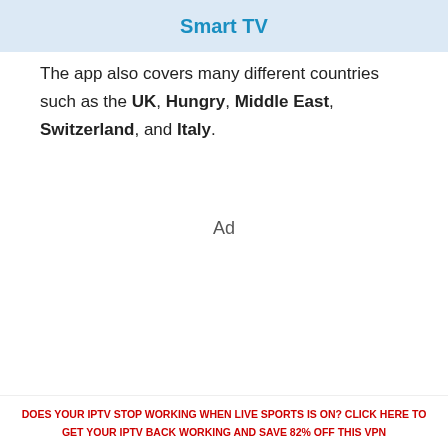Smart TV
The app also covers many different countries such as the UK, Hungry, Middle East, Switzerland, and Italy.
Ad
DOES YOUR IPTV STOP WORKING WHEN LIVE SPORTS IS ON? CLICK HERE TO GET YOUR IPTV BACK WORKING AND SAVE 82% OFF THIS VPN